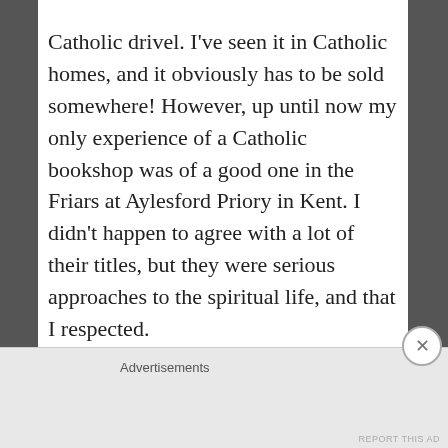Catholic drivel. I've seen it in Catholic homes, and it obviously has to be sold somewhere! However, up until now my only experience of a Catholic bookshop was of a good one in the Friars at Aylesford Priory in Kent. I didn't happen to agree with a lot of their titles, but they were serious approaches to the spiritual life, and that I respected.
★ Like
Reply
Advertisements